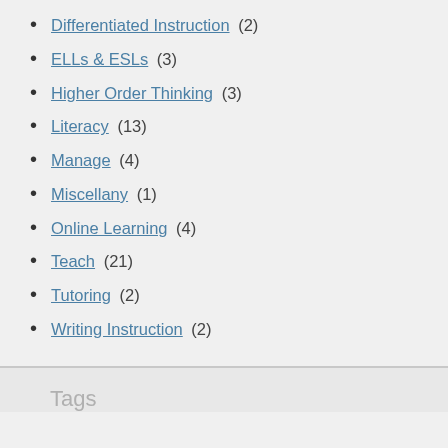Differentiated Instruction (2)
ELLs & ESLs (3)
Higher Order Thinking (3)
Literacy (13)
Manage (4)
Miscellany (1)
Online Learning (4)
Teach (21)
Tutoring (2)
Writing Instruction (2)
Tags